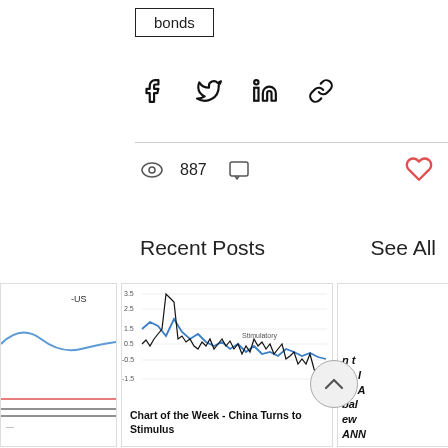bonds
[Figure (infographic): Social sharing icons: Facebook, Twitter, LinkedIn, Link]
887
Recent Posts
See All
[Figure (continuous-plot): Partial left card showing blue curve on white background with partial UI elements]
[Figure (line-chart): Line chart with Z-Score on y-axis (range -1.5 to 3.5), two lines: black and blue. Blue line labeled 'Stimulatory'. Y-axis label: Z-Score. Grid visible.]
Chart of the Week - China Turns to Stimulus
[Figure (infographic): Partial right card showing bold italic text fragments: n t, na I, na A, bal, ew, ANN]